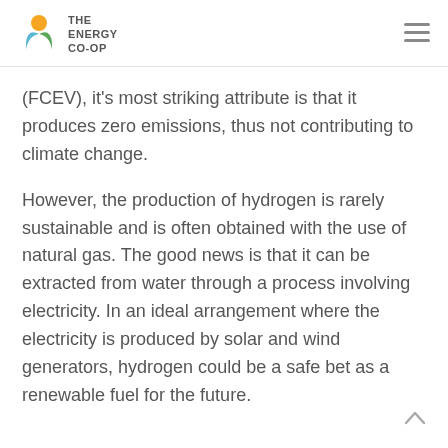THE ENERGY CO-OP
(FCEV), it's most striking attribute is that it produces zero emissions, thus not contributing to climate change.
However, the production of hydrogen is rarely sustainable and is often obtained with the use of natural gas. The good news is that it can be extracted from water through a process involving electricity. In an ideal arrangement where the electricity is produced by solar and wind generators, hydrogen could be a safe bet as a renewable fuel for the future.